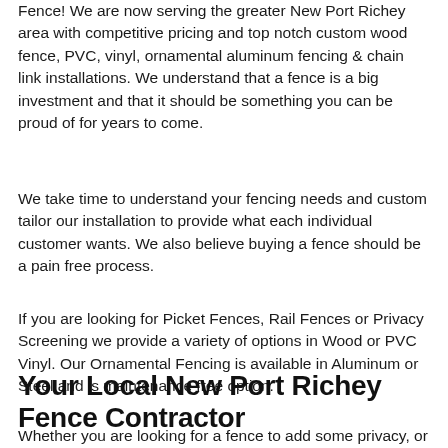Fence! We are now serving the greater New Port Richey area with competitive pricing and top notch custom wood fence, PVC, vinyl, ornamental aluminum fencing & chain link installations. We understand that a fence is a big investment and that it should be something you can be proud of for years to come.
We take time to understand your fencing needs and custom tailor our installation to provide what each individual customer wants. We also believe buying a fence should be a pain free process.
If you are looking for Picket Fences, Rail Fences or Privacy Screening we provide a variety of options in Wood or PVC Vinyl. Our Ornamental Fencing is available in Aluminum or Steel and is maintenance free option.
Your Local New Port Richey Fence Contractor
Whether you are looking for a fence to add some privacy, or to define your yard, or to keep